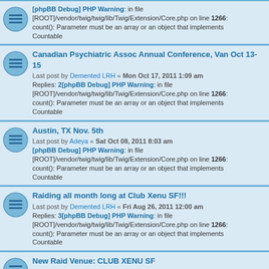[phpBB Debug] PHP Warning: in file [ROOT]/vendor/twig/twig/lib/Twig/Extension/Core.php on line 1266: count(): Parameter must be an array or an object that implements Countable
Canadian Psychiatric Assoc Annual Conference, Van Oct 13-15
Last post by Demented LRH « Mon Oct 17, 2011 1:09 am
Replies: 2[phpBB Debug] PHP Warning: in file [ROOT]/vendor/twig/twig/lib/Twig/Extension/Core.php on line 1266: count(): Parameter must be an array or an object that implements Countable
Austin, TX Nov. 5th
Last post by Adeya « Sat Oct 08, 2011 8:03 am
[phpBB Debug] PHP Warning: in file [ROOT]/vendor/twig/twig/lib/Twig/Extension/Core.php on line 1266: count(): Parameter must be an array or an object that implements Countable
Raiding all month long at Club Xenu SF!!!
Last post by Demented LRH « Fri Aug 26, 2011 12:00 am
Replies: 3[phpBB Debug] PHP Warning: in file [ROOT]/vendor/twig/twig/lib/Twig/Extension/Core.php on line 1266: count(): Parameter must be an array or an object that implements Countable
New Raid Venue: CLUB XENU SF
Last post by skeptic2girl « Sat Jul 02, 2011 7:56 am
[phpBB Debug] PHP Warning: in file [ROOT]/vendor/twig/twig/lib/Twig/Extension/Core.php on line 1266: count(): Parameter must be an array or an object that implements Countable
Santa Rosa Raids: The Story Continues...
Last post by skeptic2girl « Thu Jun 09, 2011 8:51 pm
[phpBB Debug] PHP Warning: in file [ROOT]/vendor/twig/twig/lib/Twig/Extension/Core.php on line 1266: count(): Parameter must be an array or an object that implements Countable